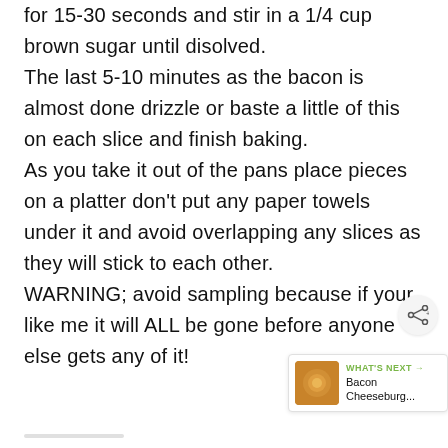for 15-30 seconds and stir in a 1/4 cup brown sugar until disolved. The last 5-10 minutes as the bacon is almost done drizzle or baste a little of this on each slice and finish baking. As you take it out of the pans place pieces on a platter don't put any paper towels under it and avoid overlapping any slices as they will stick to each other. WARNING; avoid sampling because if your like me it will ALL be gone before anyone else gets any of it!
[Figure (photo): Share icon (network/share symbol) in a light grey circle]
[Figure (photo): What's Next promotional box showing a Bacon Cheeseburger image with text 'WHAT'S NEXT' and 'Bacon Cheeseburg...']